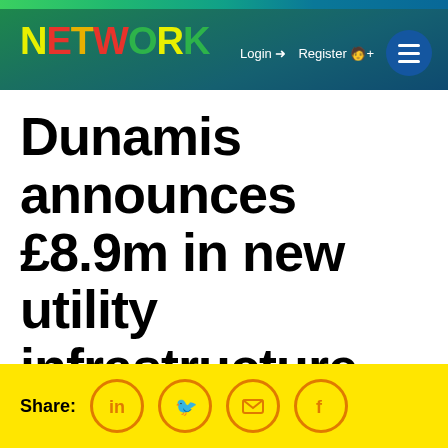NETWORK — Login | Register
Dunamis announces £8.9m in new utility infrastructure
Share: [LinkedIn] [Twitter] [Email] [Facebook]